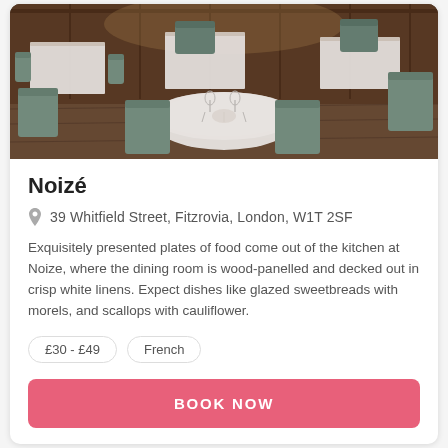[Figure (photo): Interior of Noizé restaurant showing white-tablecloth dining tables, grey velvet chairs, and wood-panelled walls with warm lighting.]
Noizé
39 Whitfield Street, Fitzrovia, London, W1T 2SF
Exquisitely presented plates of food come out of the kitchen at Noize, where the dining room is wood-panelled and decked out in crisp white linens. Expect dishes like glazed sweetbreads with morels, and scallops with cauliflower.
£30 - £49
French
BOOK NOW